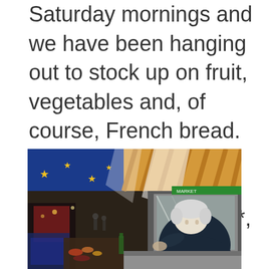Saturday mornings and we have been hanging out to stock up on fruit, vegetables and, of course, French bread. So early this morning, in spite of a temperature around 1*, we went down and it was amazing.
[Figure (photo): Indoor market scene with colourful awning/canopy overhead (orange, blue, gold stripes with stars), market stalls visible in the background with lights, and an elderly person with white/grey hair leaning over a stall in the foreground right. Warm ambient lighting.]